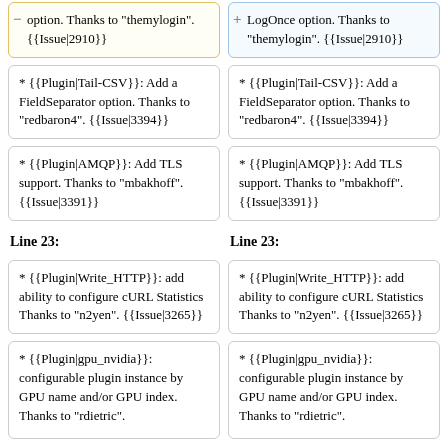option. Thanks to "themylogin". {{Issue|2910}}
LogOnce option. Thanks to "themylogin". {{Issue|2910}}
* {{Plugin|Tail-CSV}}: Add a FieldSeparator option. Thanks to "redbaron4". {{Issue|3394}}
* {{Plugin|Tail-CSV}}: Add a FieldSeparator option. Thanks to "redbaron4". {{Issue|3394}}
* {{Plugin|AMQP}}: Add TLS support. Thanks to "mbakhoff". {{Issue|3391}}
* {{Plugin|AMQP}}: Add TLS support. Thanks to "mbakhoff". {{Issue|3391}}
Line 23:
Line 23:
* {{Plugin|Write_HTTP}}: add ability to configure cURL Statistics Thanks to "n2yen". {{Issue|3265}}
* {{Plugin|Write_HTTP}}: add ability to configure cURL Statistics Thanks to "n2yen". {{Issue|3265}}
* {{Plugin|gpu_nvidia}}: configurable plugin instance by GPU name and/or GPU index. Thanks to "rdietric".
* {{Plugin|gpu_nvidia}}: configurable plugin instance by GPU name and/or GPU index. Thanks to "rdietric".